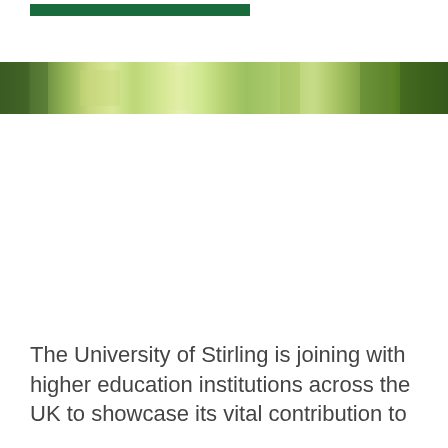[Figure (photo): Green bar logo element for University of Stirling]
[Figure (photo): A horizontal photographic strip showing a natural outdoor scene with trees and green foliage, likely the University of Stirling campus.]
The University of Stirling is joining with higher education institutions across the UK to showcase its vital contribution to